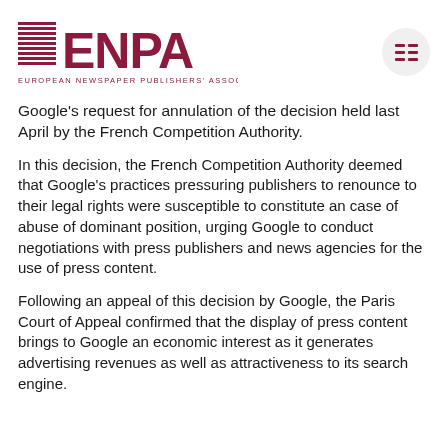[Figure (logo): ENPA – European Newspaper Publishers' Association logo with red horizontal lines graphic on left and large ENPA text in dark red, plus a circular menu button on the right]
Google's request for annulation of the decision held last April by the French Competition Authority.
In this decision, the French Competition Authority deemed that Google's practices pressuring publishers to renounce to their legal rights were susceptible to constitute an case of abuse of dominant position, urging Google to conduct negotiations with press publishers and news agencies for the use of press content.
Following an appeal of this decision by Google, the Paris Court of Appeal confirmed that the display of press content brings to Google an economic interest as it generates advertising revenues as well as attractiveness to its search engine.